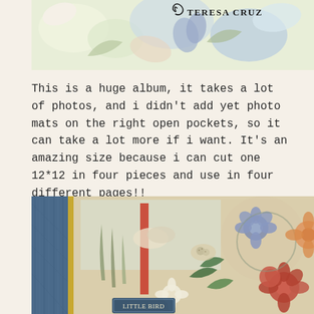[Figure (photo): Top portion of a decorative scrapbook album with floral and nature-themed paper elements. Author name 'TERESA CRUZ' with decorative swirl visible in upper right.]
This is a huge album, it takes a lot of photos, and i didn't add yet photo mats on the right open pockets, so it can take a lot more if i want. It's an amazing size because i can cut one 12*12 in four pieces and use in four different pages!!
[Figure (photo): Close-up photo of a decorative scrapbook album spine and cover with floral embellishments, blue denim-like texture, botanical papers, red and white flowers, green leaves, and a tag reading 'LITTLE BIRD'.]